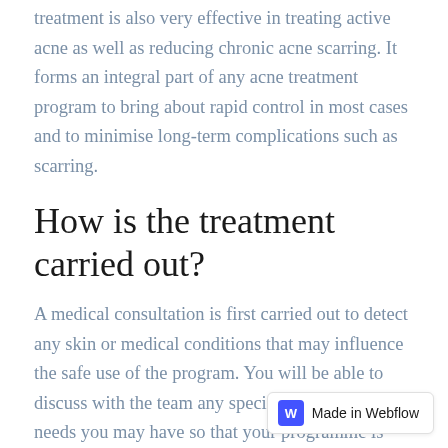treatment is also very effective in treating active acne as well as reducing chronic acne scarring. It forms an integral part of any acne treatment program to bring about rapid control in most cases and to minimise long-term complications such as scarring.
How is the treatment carried out?
A medical consultation is first carried out to detect any skin or medical conditions that may influence the safe use of the program. You will be able to discuss with the team any specific concerns or needs you may have so that your programme is tailored to consider these and other factors such as your age, skin type and degree of damage.
We start with a one or two week home treatment course of daily applications of products to prepa... before the application of the peeling agents for a more...